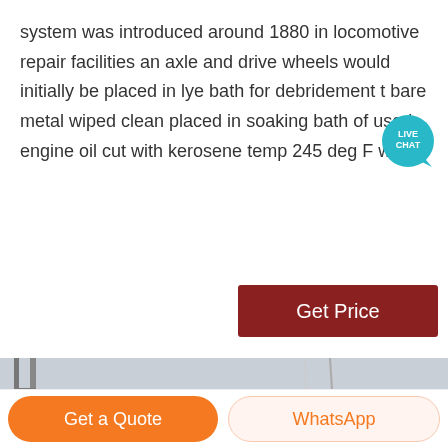system was introduced around 1880 in locomotive repair facilities an axle and drive wheels would initially be placed in lye bath for debridement t bare metal wiped clean placed in soaking bath of used engine oil cut with kerosene temp 245 deg F with
[Figure (other): Live chat icon bubble - teal circular badge with LIVE CHAT text and speech bubble tail]
[Figure (other): Get Price button - dark red/maroon rectangular button with white text]
[Figure (photo): Photo of industrial machinery - large gray cylindrical boiler or drum being lifted by red crane equipment, shot from below against overcast sky, scaffolding visible on left]
[Figure (other): Get a Quote orange rounded button]
[Figure (other): WhatsApp light orange rounded button]